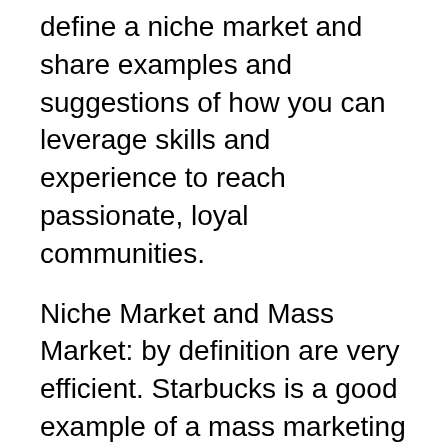define a niche market and share examples and suggestions of how you can leverage skills and experience to reach passionate, loyal communities.
Niche Market and Mass Market: by definition are very efficient. Starbucks is a good example of a mass marketing approach. Niche Market and Mass Market: by definition are very efficient. Starbucks is a good example of a mass marketing approach.
Mass Marketing was common in B» Mass marketing definition and explanation with examples. the competitor might get a niche but he will be the King of that niche. Picking a